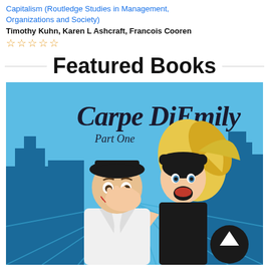Capitalism (Routledge Studies in Management, Organizations and Society)
Timothy Kuhn, Karen L Ashcraft, Francois Cooren
☆☆☆☆☆
Featured Books
[Figure (illustration): Book cover for 'Carpe DiEmily Part One' showing two illustrated characters — a man in a white suit and black hat covering his face, and a blonde woman in black with an open mouth expression — against a blue city skyline background with a logo in the bottom right corner.]